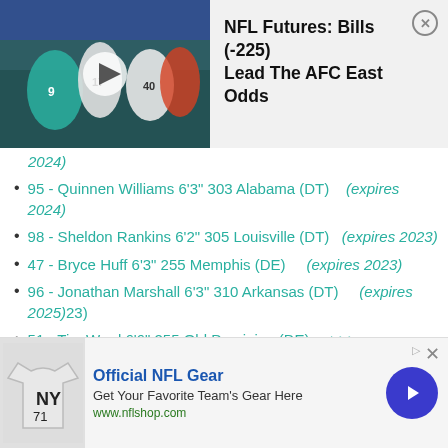[Figure (screenshot): NFL game video thumbnail showing football players, with play button overlay]
NFL Futures: Bills (-225) Lead The AFC East Odds
2024)
95 - Quinnen Williams 6'3" 303 Alabama (DT)    (expires 2024)
98 - Sheldon Rankins 6'2" 305 Louisville (DT)   (expires 2023)
47 - Bryce Huff 6'3" 255 Memphis (DE)     (expires 2023)
96 - Jonathan Marshall 6'3" 310 Arkansas (DT)      (expires 2025)23)
51 - Tim Ward 6'6" 255 Old Dominion (DE)      >>>
[Figure (screenshot): NFL shop advertisement with jersey image]
Official NFL Gear
Get Your Favorite Team's Gear Here
www.nflshop.com